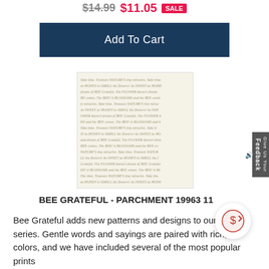$14.99 $11.05 SALE
Add To Cart
[Figure (photo): Fabric swatch with repeating script text pattern on parchment/cream background. Text includes 'BEE Grateful', 'FLOWER', 'BLOSSOMS', 'HONEY', 'NATURE'S tiny miracles', 'SWEET', 'Take time, Treasure' in cursive and block letters.]
BEE GRATEFUL - PARCHMENT 19963 11
Bee Grateful adds new patterns and designs to our p... ee series. Gentle words and sayings are paired with rich, ... colors, and we have included several of the most popular prints from PREVIOUS THIRDS...